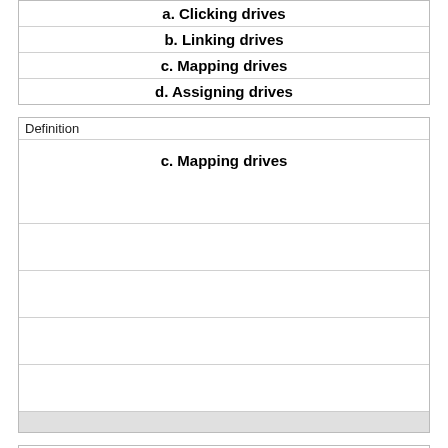a. Clicking drives
b. Linking drives
c. Mapping drives
d. Assigning drives
Definition
c. Mapping drives
Term
With the Volume Shadow Copy Service enabled, what does the system do if the maximum number of copies supported by Windows Server 2012 is reached?
a. The system does not impose a limit on the number of